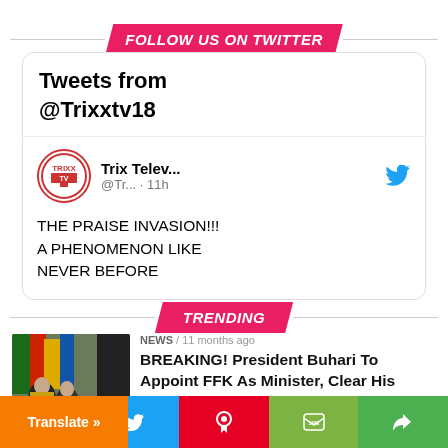FOLLOW US ON TWITTER
[Figure (screenshot): Twitter embed card showing Tweets from @Trixxtv18 with profile of Trix Telev... @Tr... · 11h and tweet text: THE PRAISE INVASION!!! A PHENOMENON LIKE NEVER BEFORE]
TRENDING
[Figure (photo): News thumbnail showing President Buhari with officials]
NEWS / 11 months ago
BREAKING! President Buhari To Appoint FFK As Minister, Clear His Corruption
Translate »